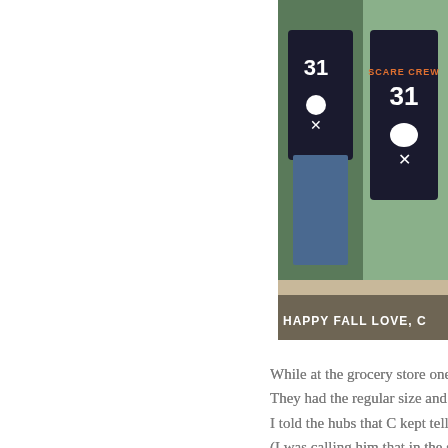[Figure (photo): Two children wearing matching black shirts with number 31 and skull-and-crossbones design. One shirt says 'SCARE CREW 31'. Text overlay at bottom reads 'HAPPY FALL LOVE, C']
While at the grocery store one day w... They had the regular size and... I told the hubs that C kept telling me he w... (I was calling him that in the store while picking... I don't think he bought... Oh well... I bought 2 but had the u... They were so cute a... I was the one obsessed with this cutie... So on another trip I saw... Well, now he had to have... So, now we have 3 C si... And all perfect for the m...